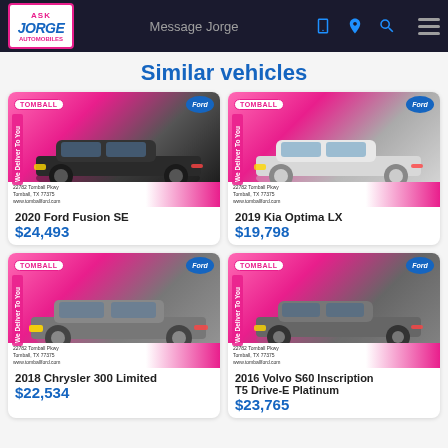Ask Jorge Auto — Message Jorge
Similar vehicles
[Figure (photo): 2020 Ford Fusion SE car listing card with dealer photo, Tomball Ford badge, $24,493 price]
2020 Ford Fusion SE
$24,493
[Figure (photo): 2019 Kia Optima LX car listing card with dealer photo, Tomball Ford badge, $19,798 price]
2019 Kia Optima LX
$19,798
[Figure (photo): 2018 Chrysler 300 Limited car listing card with dealer photo, Tomball Ford badge, $22,534 price]
2018 Chrysler 300 Limited
$22,534
[Figure (photo): 2016 Volvo S60 Inscription T5 Drive-E Platinum car listing card with dealer photo, Tomball Ford badge, $23,765 price]
2016 Volvo S60 Inscription T5 Drive-E Platinum
$23,765